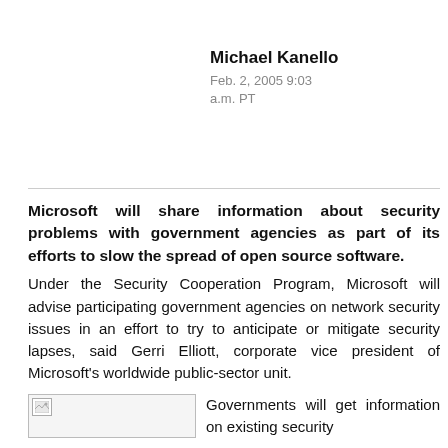Michael Kanello
Feb. 2, 2005 9:03 a.m. PT
Microsoft will share information about security problems with government agencies as part of its efforts to slow the spread of open source software. Under the Security Cooperation Program, Microsoft will advise participating government agencies on network security issues in an effort to try to anticipate or mitigate security lapses, said Gerri Elliott, corporate vice president of Microsoft's worldwide public-sector unit.
[Figure (photo): Broken/missing image placeholder on left side of page]
Governments will get information on existing security